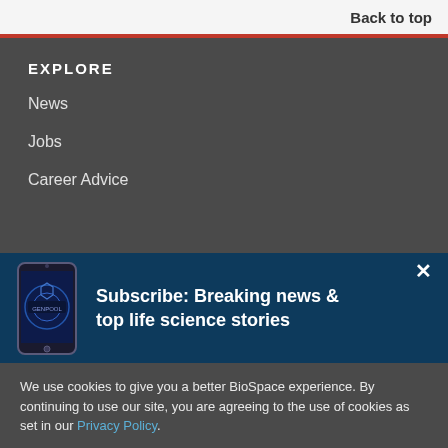Back to top
EXPLORE
News
Jobs
Career Advice
[Figure (screenshot): Subscribe banner with phone graphic showing GENPOOL app and text: Subscribe: Breaking news & top life science stories]
We use cookies to give you a better BioSpace experience. By continuing to use our site, you are agreeing to the use of cookies as set in our Privacy Policy.
Accept